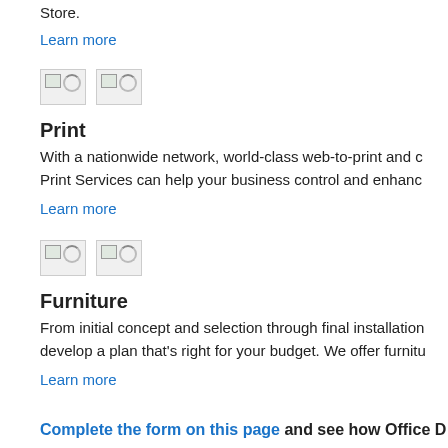Store.
Learn more
[Figure (illustration): Broken/loading image icon for Print section]
Print
With a nationwide network, world-class web-to-print and c... Print Services can help your business control and enhanc...
Learn more
[Figure (illustration): Broken/loading image icon for Furniture section]
Furniture
From initial concept and selection through final installation... develop a plan that's right for your budget. We offer furnitu...
Learn more
Complete the form on this page and see how Office D...